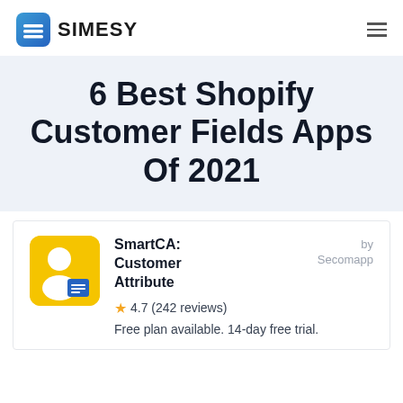SIMESY
6 Best Shopify Customer Fields Apps Of 2021
SmartCA: Customer Attribute
★ 4.7 (242 reviews)
Free plan available. 14-day free trial.
by Secomapp